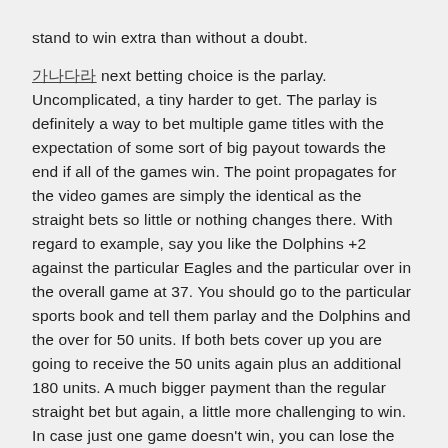stand to win extra than without a doubt.
가나다라 next betting choice is the parlay. Uncomplicated, a tiny harder to get. The parlay is definitely a way to bet multiple game titles with the expectation of some sort of big payout towards the end if all of the games win. The point propagates for the video games are simply the identical as the straight bets so little or nothing changes there. With regard to example, say you like the Dolphins +2 against the particular Eagles and the particular over in the overall game at 37. You should go to the particular sports book and tell them parlay and the Dolphins and the over for 50 units. If both bets cover up you are going to receive the 50 units again plus an additional 180 units. A much bigger payment than the regular straight bet but again, a little more challenging to win. In case just one game doesn't win, you can lose the complete bet.